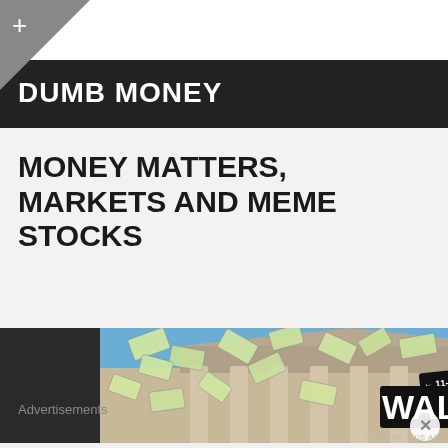DUMB MONEY
MONEY MATTERS, MARKETS AND MEME STOCKS
[Figure (photo): Wall Street sign with money flying in the air above a columned building facade, with a black street sign reading 'WALL' and '11-21' visible, blue sky background]
Advertisements